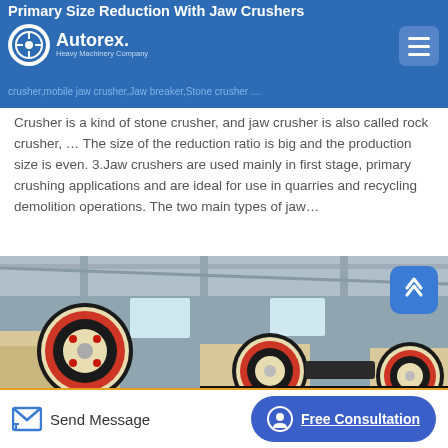Primary Size Reduction With Jaw Crushers
Autorex Heavy Machinery Company
crusher,mobile jaw crusher,Jaw breaker,Stone crusher …
Crusher is a kind of stone crusher, and jaw crusher is also called rock crusher, … The size of the reduction ratio is big and the production size is even. 3.Jaw crushers are used mainly in first stage, primary crushing applications and are ideal for use in quarries and recycling demolition operations. The two main types of jaw…
[Figure (photo): Industrial jaw crushers with large red and cream-colored flywheel discs in a factory setting]
Send Message
Free Consultation